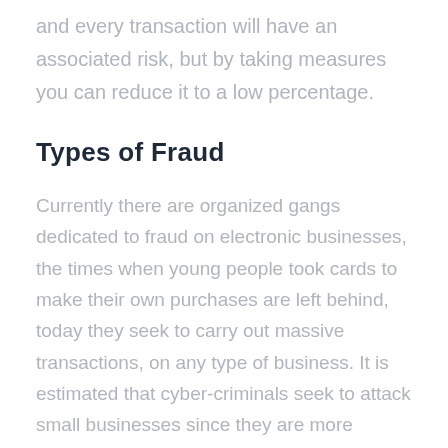and every transaction will have an associated risk, but by taking measures you can reduce it to a low percentage.
Types of Fraud
Currently there are organized gangs dedicated to fraud on electronic businesses, the times when young people took cards to make their own purchases are left behind, today they seek to carry out massive transactions, on any type of business. It is estimated that cyber-criminals seek to attack small businesses since they are more vulnerable as they have less developed infrastructure for fraud control,